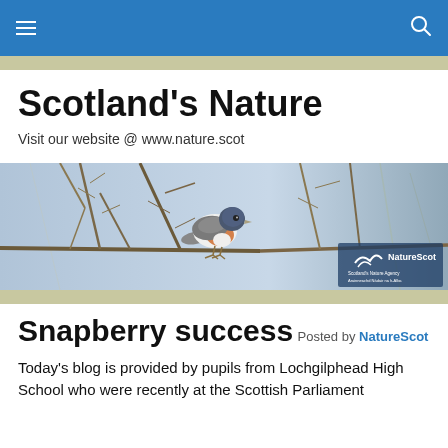Navigation bar with hamburger menu and search icon
Scotland's Nature
Visit our website @ www.nature.scot
[Figure (photo): A small bird (brambling/chaffinch type) perched on bare winter branches, with a NatureScot logo in the bottom right corner. Bird has blue-grey head, orange breast, white belly.]
Snapberry success
Posted by NatureScot
Today's blog is provided by pupils from Lochgilphead High School who were recently at the Scottish Parliament